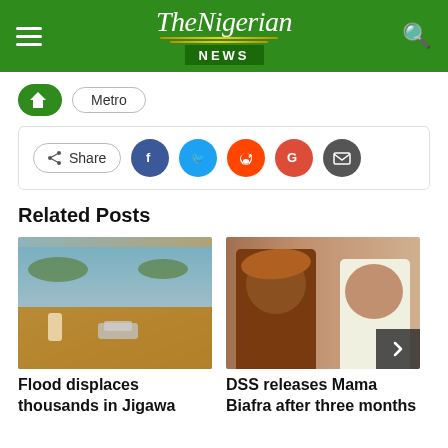The Nigerian NEWS
Metro
Share
Related Posts
[Figure (photo): Flooded street in Jigawa with a person wading through brown floodwater and a partially submerged car]
Flood displaces thousands in Jigawa
[Figure (photo): Two people: a smiling woman in traditional Nigerian attire and headwrap, and a man in white agbada. DSS releases Mama Biafra after three months]
DSS releases Mama Biafra after three months